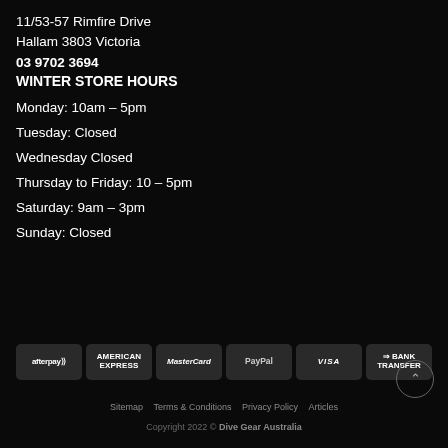11/53-57 Rimfire Drive
Hallam 3803 Victoria
03 9702 3694
WINTER STORE HOURS
Monday: 10am – 5pm
Tuesday: Closed
Wednesday Closed
Thursday to Friday: 10 – 5pm
Saturday: 9am – 3pm
Sunday: Closed
[Figure (logo): Payment method logos: afterpay, American Express, MasterCard, PayPal, VISA, Bank Transfer]
Sitemap   Terms & Conditions   Privacy Policy   Articles
Copyright 2022 © Dive Gear Australia